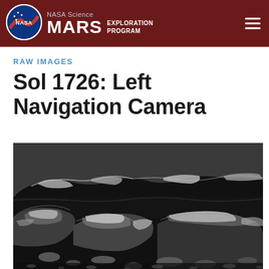NASA Science MARS EXPLORATION PROGRAM
RAW IMAGES
Sol 1726: Left Navigation Camera
[Figure (photo): Black and white raw image from Mars Curiosity rover Left Navigation Camera on Sol 1726, showing rocky Martian terrain with layered sedimentary rocks, dark sandy ground, and scattered rock fragments in the foreground.]